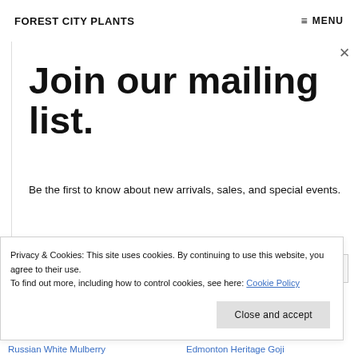FOREST CITY PLANTS    ≡ MENU
Join our mailing list.
Be the first to know about new arrivals, sales, and special events.
Email address
Privacy & Cookies: This site uses cookies. By continuing to use this website, you agree to their use.
To find out more, including how to control cookies, see here: Cookie Policy
Close and accept
Russian White Mulberry    Edmonton Heritage Goji